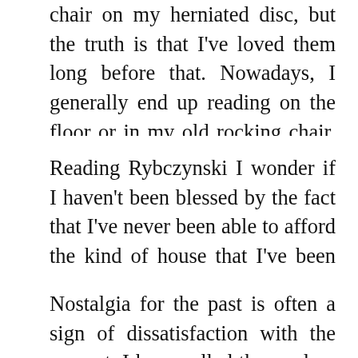chair on my herniated disc, but the truth is that I've loved them long before that. Nowadays, I generally end up reading on the floor or in my old rocking chair, even eschewing my $800 computer chair.
Reading Rybczynski I wonder if I haven't been blessed by the fact that I've never been able to afford the kind of house that I've been most attracted to:
Nostalgia for the past is often a sign of dissatisfaction with the present. I have called the modern interior “a rupture in the evolution of domestic comfort.” It represents an attempt not so much to introduce a new style that is the least of it as to change social habits, and even